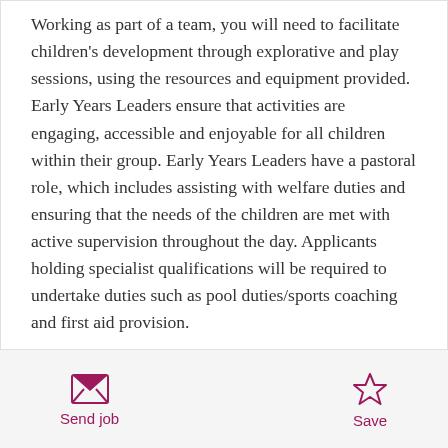Working as part of a team, you will need to facilitate children's development through explorative and play sessions, using the resources and equipment provided. Early Years Leaders ensure that activities are engaging, accessible and enjoyable for all children within their group. Early Years Leaders have a pastoral role, which includes assisting with welfare duties and ensuring that the needs of the children are met with active supervision throughout the day. Applicants holding specialist qualifications will be required to undertake duties such as pool duties/sports coaching and first aid provision.
Send job
Save